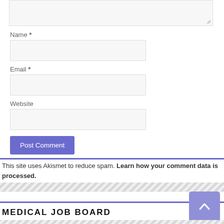[Figure (screenshot): Text area input box (comment field) with resize handle in bottom-right corner, gray background]
Name *
[Figure (screenshot): Name input field, gray background, empty]
Email *
[Figure (screenshot): Email input field, gray background, empty]
Website
[Figure (screenshot): Website input field, gray background, empty]
[Figure (screenshot): Post Comment button, medium slate blue color]
This site uses Akismet to reduce spam. Learn how your comment data is processed.
MEDICAL JOB BOARD